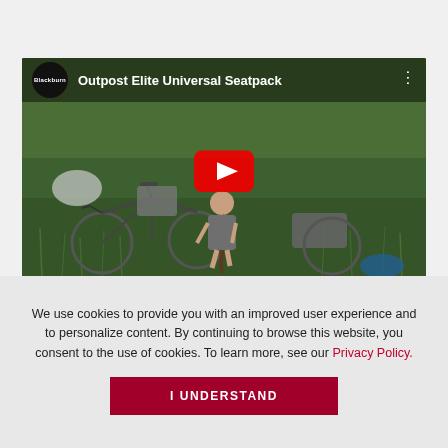[Figure (screenshot): YouTube video thumbnail for 'Outpost Elite Universal Seatpack' by Blackburn. Shows a woman sitting on grass next to a bicycle loaded with bikepacking bags. A large red YouTube play button is centered on the video. The video header shows the Blackburn logo (black circle) and the video title in white text.]
We use cookies to provide you with an improved user experience and to personalize content. By continuing to browse this website, you consent to the use of cookies. To learn more, see our Privacy Policy.
I UNDERSTAND